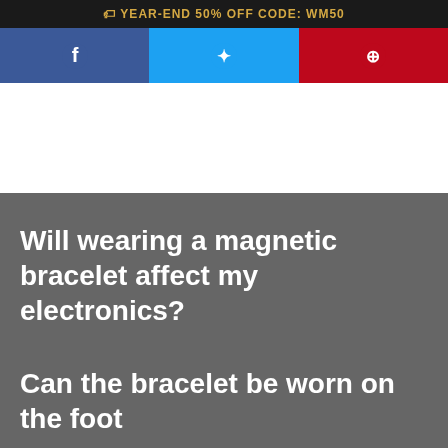🏷 YEAR-END 50% OFF CODE: WM50
[Figure (other): Social sharing buttons: Facebook (blue), Twitter (light blue), Pinterest (red) with icons]
Will wearing a magnetic bracelet affect my electronics?
Can the bracelet be worn on the foot